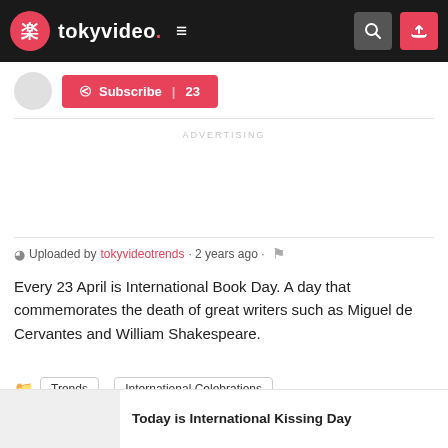tokyvideo.
Subscribe | 23
ADVERTISING
Uploaded by tokyvideotrends · 2 years ago ·
Every 23 April is International Book Day. A day that commemorates the death of great writers such as Miguel de Cervantes and William Shakespeare.
Trends
International Celebrations
Today is International Kissing Day